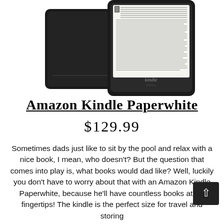[Figure (photo): Amazon Kindle Paperwhite product photo showing two Kindle devices — one showing its back and one showing the front screen with book text visible, both in black.]
Amazon Kindle Paperwhite
$129.99
Sometimes dads just like to sit by the pool and relax with a nice book, I mean, who doesn't? But the question that comes into play is, what books would dad like? Well, luckily you don't have to worry about that with an Amazon Kindle Paperwhite, because he'll have countless books at his fingertips! The kindle is the perfect size for travel and storing